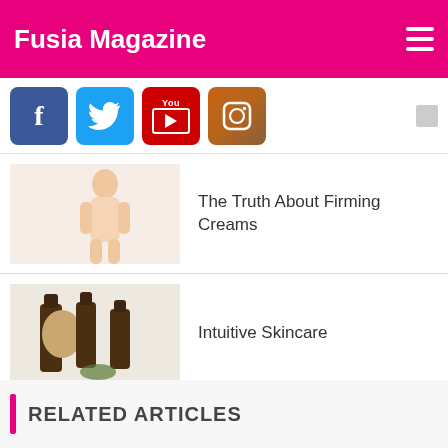Fusia Magazine
[Figure (screenshot): Social media icons: Facebook, Twitter, YouTube, Instagram]
The Truth About Firming Creams
Intuitive Skincare
Sahajan: The Key to an Ayurvedic Inspired Beauty Regime
RELATED ARTICLES